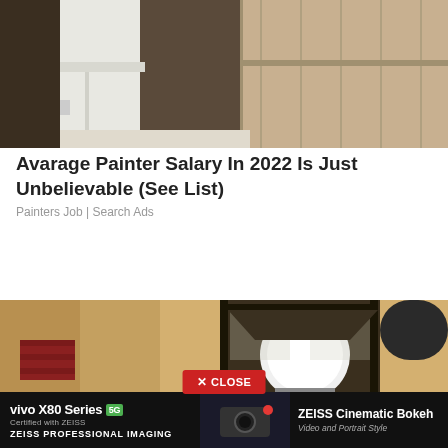[Figure (photo): Photo of a painter in white work clothes, partially visible from waist down, in a room with what appears to be wooden paneling or trim being painted]
Avarage Painter Salary In 2022 Is Just Unbelievable (See List)
Painters Job | Search Ads
[Figure (photo): Close-up photo of a vintage black metal wall-mounted lantern light fixture with a glowing round bulb, mounted on a rough textured beige/sand stucco wall with a red brick patch visible]
✕ CLOSE
[Figure (photo): Advertisement banner for vivo X80 Series 5G with ZEISS Professional Imaging and ZEISS Cinematic Bokeh - Video and Portrait Style, showing a dark image of a camera]